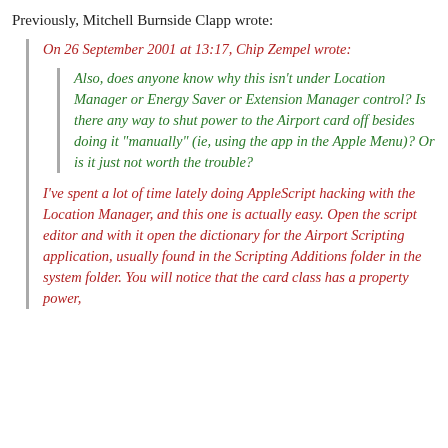Previously, Mitchell Burnside Clapp wrote:
On 26 September 2001 at 13:17, Chip Zempel wrote:
Also, does anyone know why this isn't under Location Manager or Energy Saver or Extension Manager control? Is there any way to shut power to the Airport card off besides doing it "manually" (ie, using the app in the Apple Menu)? Or is it just not worth the trouble?
I've spent a lot of time lately doing AppleScript hacking with the Location Manager, and this one is actually easy. Open the script editor and with it open the dictionary for the Airport Scripting application, usually found in the Scripting Additions folder in the system folder. You will notice that the card class has a property power,